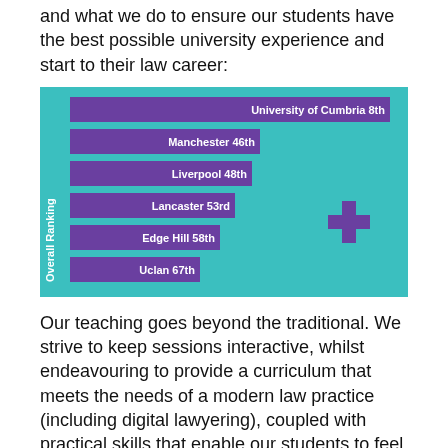and what we do to ensure our students have the best possible university experience and start to their law career:
[Figure (bar-chart): Overall Ranking]
Our teaching goes beyond the traditional. We strive to keep sessions interactive, whilst endeavouring to provide a curriculum that meets the needs of a modern law practice (including digital lawyering), coupled with practical skills that enable our students to feel